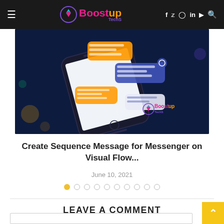Boostup Techs — navigation header with hamburger menu, logo, social icons (f, twitter, instagram, in, youtube), and search icon
[Figure (illustration): Isometric illustration of a smartphone with floating message bubbles in blue, orange, and white on a dark navy background. BoostupTechs logo visible in lower right of image.]
Create Sequence Message for Messenger on Visual Flow...
June 10, 2021
LEAVE A COMMENT